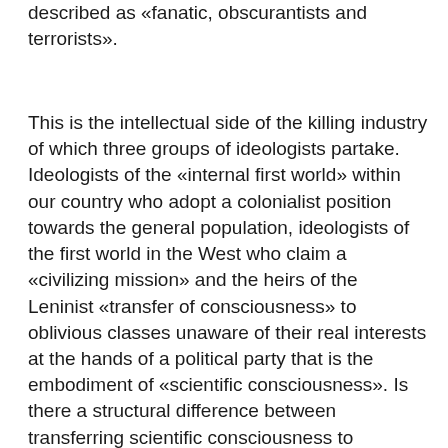described as «fanatic, obscurantists and terrorists».
This is the intellectual side of the killing industry of which three groups of ideologists partake. Ideologists of the «internal first world» within our country who adopt a colonialist position towards the general population, ideologists of the first world in the West who claim a «civilizing mission» and the heirs of the Leninist «transfer of consciousness» to oblivious classes unaware of their real interests at the hands of a political party that is the embodiment of «scientific consciousness». Is there a structural difference between transferring scientific consciousness to oblivious toiling classes and civilizing primitive populations? Are the colonized «primitives»